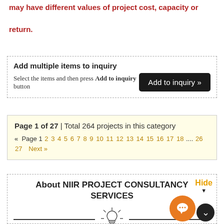may have different values of project cost, capacity or return.
Add multiple items to inquiry
Select the items and then press Add to inquiry button
Page 1 of 27 | Total 264 projects in this category
« Page 1 2 3 4 5 6 7 8 9 10 11 12 13 14 15 16 17 18 .... 26 27  Next »
About NIIR PROJECT CONSULTANCY SERVICES
NIIR PROJECT CONSULTANCY SERVICES (NPCS) is a reliable name in